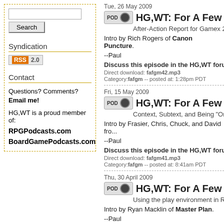Search [input]
Syndication
[Figure (logo): RSS 2.0 badge]
Contact
Questions? Comments? Email me!
HG,WT is a proud member of:
RPGPodcasts.com
BoardGamePodcasts.com
Tue, 26 May 2009
HG,WT: For A Few G...
After-Action Report for Gamex 20...
Intro by Rich Rogers of Canon Puncture.
--Paul
Discuss this episode in the HG,WT forum...
Direct download: fafgm42.mp3
Category:fafgm -- posted at: 1:28pm PDT
Fri, 15 May 2009
HG,WT: For A Few G...
Context, Subtext, and Being "On t...
Intro by Frasier, Chris, Chuck, and David fro...
--Paul
Discuss this episode in the HG,WT forum...
Direct download: fafgm41.mp3
Category:fafgm -- posted at: 8:41am PDT
Thu, 30 April 2009
HG,WT: For A Few G...
Using the play environment in RP...
Intro by Ryan Macklin of Master Plan.
--Paul
Discuss this episode in the HG,WT forum...
Direct download: fafgm40.mp3